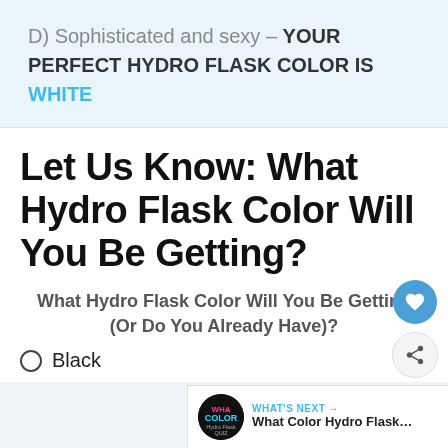D) Sophisticated and sexy – YOUR PERFECT HYDRO FLASK COLOR IS WHITE
Let Us Know: What Hydro Flask Color Will You Be Getting?
What Hydro Flask Color Will You Be Getting (Or Do You Already Have)?
○ Black